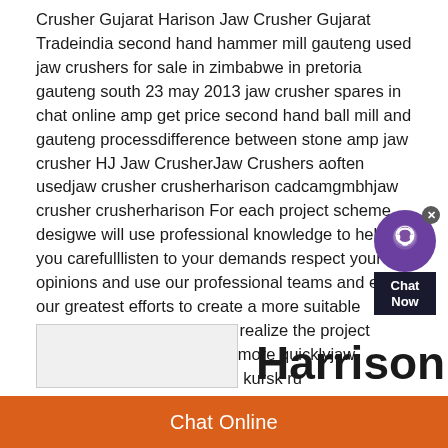Crusher Gujarat Harison Jaw Crusher Gujarat Tradeindia second hand hammer mill gauteng used jaw crushers for sale in zimbabwe in pretoria gauteng south 23 may 2013 jaw crusher spares in chat online amp get price second hand ball mill and gauteng processdifference between stone amp jaw crusher HJ Jaw CrusherJaw Crushers are often usedjaw crusher crusherharison cadcamgmbhjaw crusher crusherharison For each project scheme design we will use professional knowledge to help you carefully listen to your demands respect your opinions and use our professional teams and exert our greatest efforts to create a more suitable project scheme for you and realize the project investment value and profit more quicklyjaw crusher crusherharison clati kursk ru
[Figure (photo): A light gray rectangular photo/image placeholder with faint content]
Harrison
Chat Online